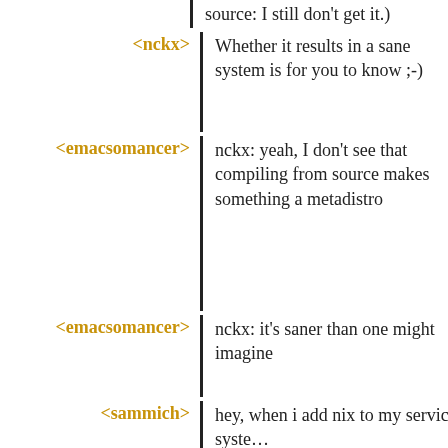source: I still don't get it.)
<nckx> Whether it results in a sane system is for you to know ;-)
<emacsomancer> nckx: yeah, I don't see that compiling from source makes something a metadistro
<emacsomancer> nckx: it's saner than one might imagine
<sammich> hey, when i add nix to my services and guix system error: https://paste.sr.ht/%7Eamk/3aa25fdb8ceb31bdfb2
<sammich> any idea why this might be?